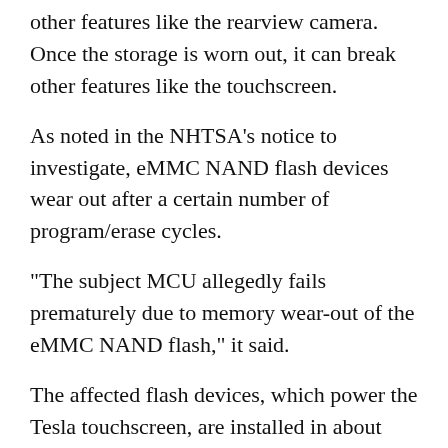other features like the rearview camera. Once the storage is worn out, it can break other features like the touchscreen.
As noted in the NHTSA's notice to investigate, eMMC NAND flash devices wear out after a certain number of program/erase cycles.
"The subject MCU allegedly fails prematurely due to memory wear-out of the eMMC NAND flash," it said.
The affected flash devices, which power the Tesla touchscreen, are installed in about 160,000 Tesla vehicles, including 2012-2018 Tesla Model S and 2016-2018 Model X vehicles.